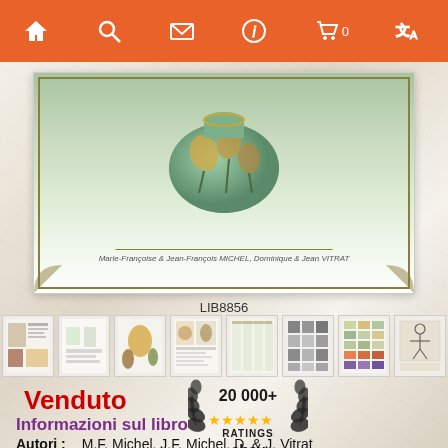[Figure (screenshot): Mobile app navigation bar with home, search, mail, info, cart (0), and translate icons on orange background]
[Figure (photo): Book cover showing a decorative green glass vase with floral motifs, with authors: Marie-Françoise & Jean-François MICHEL, Dominique & Jean VITRAT]
LIB8856
[Figure (photo): Row of 8 thumbnail images showing pages from the book including catalog pages with vases]
Venduto
[Figure (infographic): eBay badge showing 20 000+ RATINGS with 5 stars and laurel wreath]
Informazioni sul libro
Autori :    M.F. Michel, J.F. Michel, D. & J. Vitrat